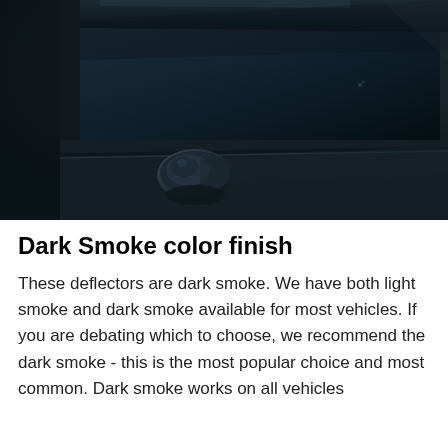[Figure (photo): Close-up photograph of a dark-tinted car window deflector/wind deflector installed on a vehicle door, showing a dark smoke finish against a dark vehicle body with side mirror visible.]
Dark Smoke color finish
These deflectors are dark smoke. We have both light smoke and dark smoke available for most vehicles. If you are debating which to choose, we recommend the dark smoke - this is the most popular choice and most common. Dark smoke works on all vehicles